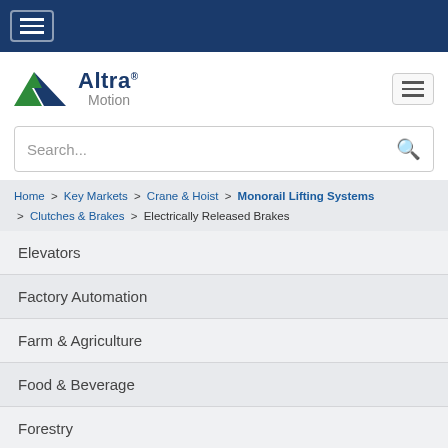[Figure (screenshot): Hamburger/menu button icon in top dark blue navigation bar]
[Figure (logo): Altra Motion logo with green and dark blue arrow icon and 'Altra Motion' text]
Search...
Home > Key Markets > Crane & Hoist > Monorail Lifting Systems > Clutches & Brakes > Electrically Released Brakes
Elevators
Factory Automation
Farm & Agriculture
Food & Beverage
Forestry
Forklift Trucks
Forklift Truck & AGVs
Marine